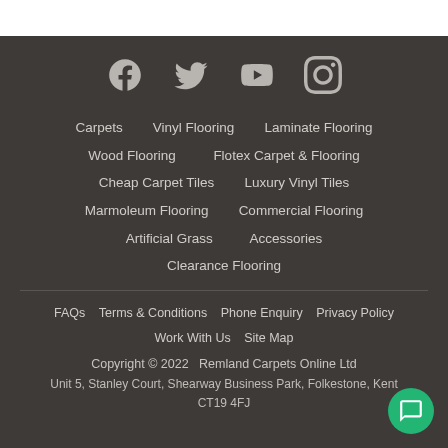[Figure (other): Social media icons: Facebook, Twitter, YouTube, Instagram]
Carpets
Vinyl Flooring
Laminate Flooring
Wood Flooring
Flotex Carpet & Flooring
Cheap Carpet Tiles
Luxury Vinyl Tiles
Marmoleum Flooring
Commercial Flooring
Artificial Grass
Accessories
Clearance Flooring
FAQs   Terms & Conditions   Phone Enquiry   Privacy Policy   Work With Us   Site Map
Copyright © 2022   Remland Carpets Online Ltd
Unit 5, Stanley Court, Shearway Business Park, Folkestone, Kent CT19 4FJ